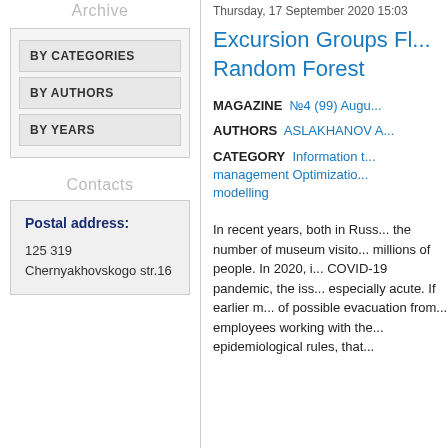Archive
BY CATEGORIES
BY AUTHORS
BY YEARS
Contacts
Postal address:
125 319  Chernyakhovskogo str.16
Thursday, 17 September 2020 15:03
Excursion Groups Fl... Random Forest
MAGAZINE  №4 (99) Augu...
AUTHORS  ASLAKHANOV A...
CATEGORY  Information t... management Optimizatio... modelling
In recent years, both in Russ... the number of museum visito... millions of people. In 2020, i... COVID-19 pandemic, the iss... especially acute. If earlier m... of possible evacuation from... employees working with the... epidemiological rules, that...